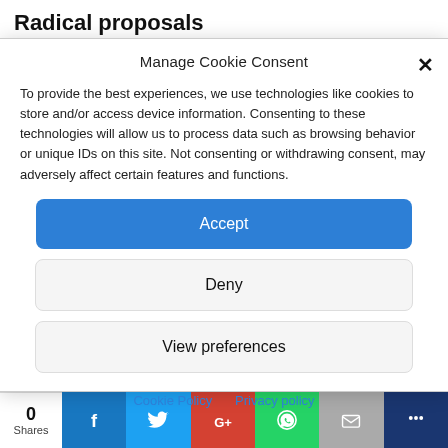Radical proposals
Manage Cookie Consent
To provide the best experiences, we use technologies like cookies to store and/or access device information. Consenting to these technologies will allow us to process data such as browsing behavior or unique IDs on this site. Not consenting or withdrawing consent, may adversely affect certain features and functions.
Accept
Deny
View preferences
Cookie Policy   Privacy policy
0
Shares